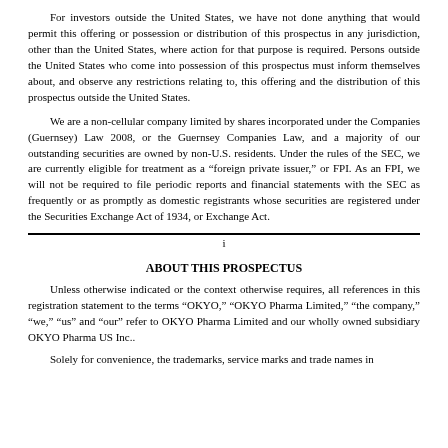For investors outside the United States, we have not done anything that would permit this offering or possession or distribution of this prospectus in any jurisdiction, other than the United States, where action for that purpose is required. Persons outside the United States who come into possession of this prospectus must inform themselves about, and observe any restrictions relating to, this offering and the distribution of this prospectus outside the United States.
We are a non-cellular company limited by shares incorporated under the Companies (Guernsey) Law 2008, or the Guernsey Companies Law, and a majority of our outstanding securities are owned by non-U.S. residents. Under the rules of the SEC, we are currently eligible for treatment as a “foreign private issuer,” or FPI. As an FPI, we will not be required to file periodic reports and financial statements with the SEC as frequently or as promptly as domestic registrants whose securities are registered under the Securities Exchange Act of 1934, or Exchange Act.
i
ABOUT THIS PROSPECTUS
Unless otherwise indicated or the context otherwise requires, all references in this registration statement to the terms “OKYO,” “OKYO Pharma Limited,” “the company,” “we,” “us” and “our” refer to OKYO Pharma Limited and our wholly owned subsidiary OKYO Pharma US Inc..
Solely for convenience, the trademarks, service marks and trade names in